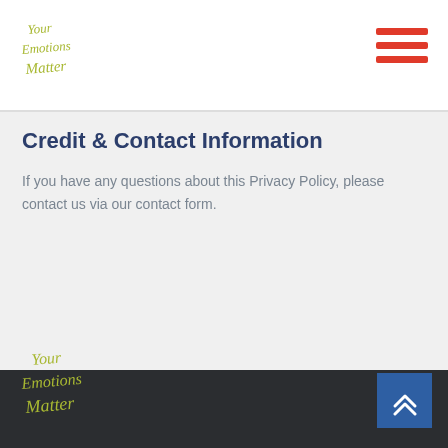[Figure (logo): Your Emotions Matter script logo in olive/yellow-green on white background, top left header]
[Figure (other): Hamburger menu icon with three red horizontal bars, top right header]
Credit & Contact Information
If you have any questions about this Privacy Policy, please contact us via our contact form.
[Figure (logo): Your Emotions Matter script logo in yellow-green on dark background, footer left]
[Figure (other): Back to top button with double chevron up arrow, blue square, footer right]